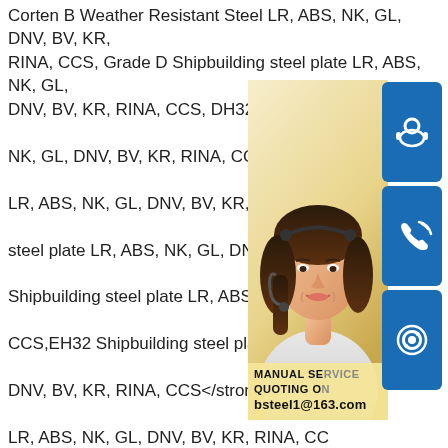Corten B Weather Resistant Steel LR, ABS, NK, GL, DNV, BV, KR, RINA, CCS, Grade D Shipbuilding steel plate LR, ABS, NK, GL, DNV, BV, KR, RINA, CCS, DH32 Shipbuilding steel plate LR, ABS, NK, GL, DNV, BV, KR, RINA, CCS,DH36 Shipbuilding steel plate LR, ABS, NK, GL, DNV, BV, KR, RINA, CCS, EH32 Shipbuilding steel plate LR, ABS, NK, GL, DNV, BV, KR, RINA, CCS,EH32 Shipbuilding steel plate <strong>DNV, BV, KR, RINA, CCS</strong> EH36 Shipbuilding steel plate LR, ABS, NK, GL, DNV, BV, KR, RINA, CCS, FH32 Shipbuilding steel plate EN 10025-5 S355J0WP Atmospheric Corrosion Resistance Steel EN10025-5 S355J2W Weather Resistance Steel Plate EN10025-5 S355J2WP Atmosphere Corrosion Resistant Steel EN10155 S355J2WP Weather Resistant Steel Plate LR, ABS, NK, GL, DNV, BV, KR, RINA, CCS FH32 Shipbuilding steel plate LR, ABS, NK, GL, DNV, BV, KR, RINA, CCS FH36 Shipbuilding steel plate LR, ABS, NK, GL, DNV, BV, KR, RINA, CCS BV FH40 Shipbuilding steel plate China GB/T 4171 Q355NHW Weather Resistant Steel Plate GB/T 4171 Q355NH...
[Figure (photo): Customer service representative woman with headset, with blue icons for chat, phone, and Skype, and contact info overlay showing MANUAL SERVICE, QUOTING ON, bsteel1@163.com]